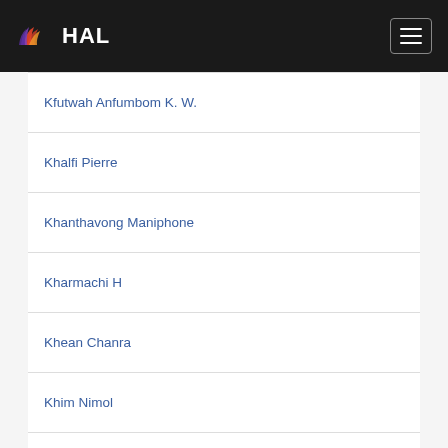HAL
Kfutwah Anfumbom K. W.
Khalfi Pierre
Khanthavong Maniphone
Kharmachi H
Khean Chanra
Khim Nimol
Kim Saorin
Kipela Jean Marie
Koeck Jean-Louis
Koffi B.